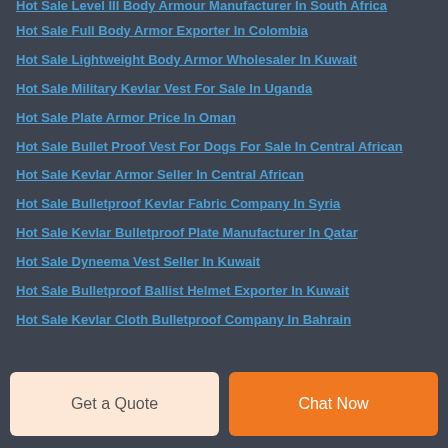Hot Sale Level III Body Armour Manufacturer In South Africa
Hot Sale Full Body Armor Exporter In Colombia
Hot Sale Lightweight Body Armor Wholesaler In Kuwait
Hot Sale Military Kevlar Vest For Sale In Uganda
Hot Sale Plate Armor Price In Oman
Hot Sale Bullet Proof Vest For Dogs For Sale In Central African
Hot Sale Kevlar Armor Seller In Central African
Hot Sale Bulletproof Kevlar Fabric Company In Syria
Hot Sale Kevlar Bulletproof Plate Manufacturer In Qatar
Hot Sale Dyneema Vest Seller In Kuwait
Hot Sale Bulletproof Ballist Helmet Exporter In Kuwait
Hot Sale Kevlar Cloth Bulletproof Company In Bahrain
Get a Quote
Chat Now